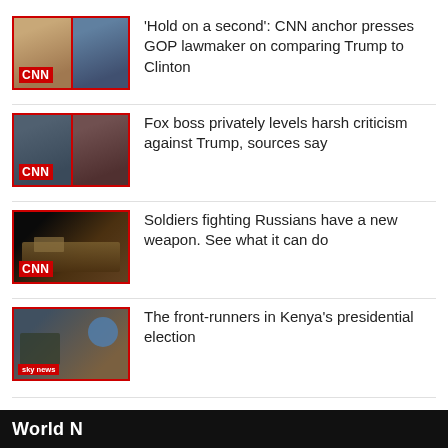'Hold on a second': CNN anchor presses GOP lawmaker on comparing Trump to Clinton
Fox boss privately levels harsh criticism against Trump, sources say
Soldiers fighting Russians have a new weapon. See what it can do
The front-runners in Kenya's presidential election
World N...